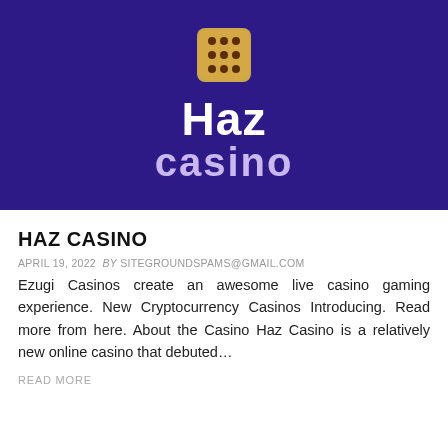[Figure (logo): Haz Casino logo on dark purple background with a gold dice at top, large white 'Haz' text and lighter purple 'casino' text below]
HAZ CASINO
APRIL 19, 2022  BY SITEGROUNDSPAMS@GMAIL.COM
Ezugi Casinos create an awesome live casino gaming experience. New Cryptocurrency Casinos Introducing. Read more from here. About the Casino Haz Casino is a relatively new online casino that debuted…
READ MORE